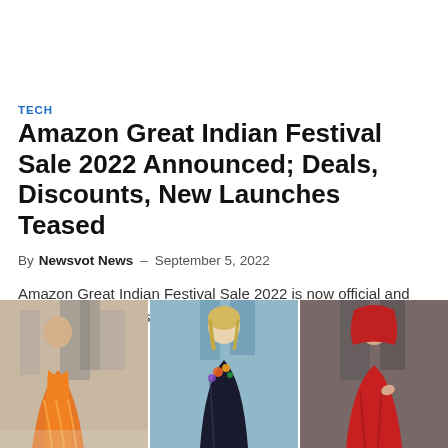TECH
Amazon Great Indian Festival Sale 2022 Announced; Deals, Discounts, New Launches Teased
By Newsvot News – September 5, 2022
Amazon Great Indian Festival Sale 2022 is now official and the festive season sale will...
[Figure (photo): Three celebrity fashion photos side by side: left - person in orange outfit on red carpet, center - blonde woman in black gown on red carpet, right - woman in red hooded outfit]
[Figure (photo): Blonde woman in black gown with floral detail on red carpet at film event]
[Figure (photo): Woman in red hooded gown at film event]